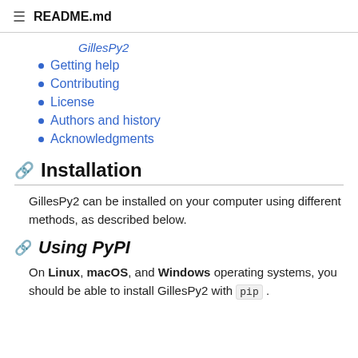README.md
GillesPy2
Getting help
Contributing
License
Authors and history
Acknowledgments
Installation
GillesPy2 can be installed on your computer using different methods, as described below.
Using PyPI
On Linux, macOS, and Windows operating systems, you should be able to install GillesPy2 with pip .